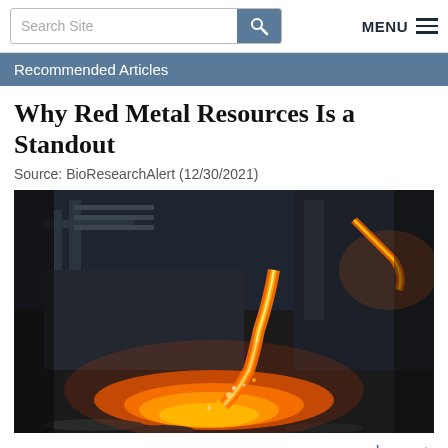Search Site | MENU
Recommended Articles
Why Red Metal Resources Is a Standout
Source: BioResearchAlert (12/30/2021)
[Figure (photo): Industrial metal smelting photo showing molten metal being poured in a dark foundry, with bright orange glowing molten stream and sparks, heavy machinery visible in background.]
read more >